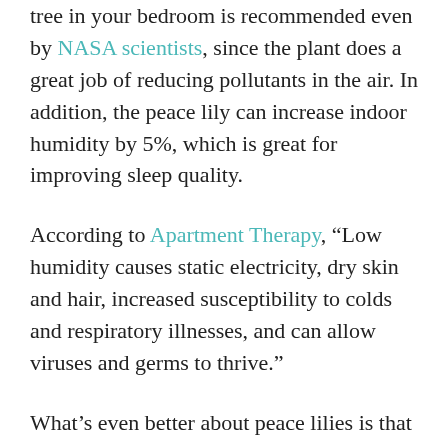tree in your bedroom is recommended even by NASA scientists, since the plant does a great job of reducing pollutants in the air. In addition, the peace lily can increase indoor humidity by 5%, which is great for improving sleep quality.
According to Apartment Therapy, “Low humidity causes static electricity, dry skin and hair, increased susceptibility to colds and respiratory illnesses, and can allow viruses and germs to thrive.”
What’s even better about peace lilies is that they don’t require much maintenance. The plant will bloom even